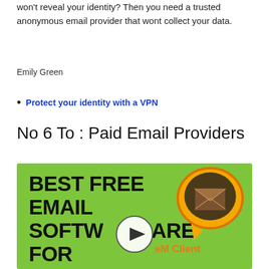won't reveal your identity? Then you need a trusted anonymous email provider that wont collect your data.
Emily Green
Protect your identity with a VPN
No 6 To : Paid Email Providers
[Figure (illustration): Green banner image with text 'BEST FREE EMAIL SOFTWARE FOR WINDOWS 10' in bold black lettering, a play button in the center, an orange eM Client speech-bubble logo in the top right, and 'eM Client' text in orange.]